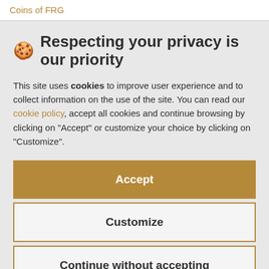Coins of FRG
🍪 Respecting your privacy is our priority
This site uses cookies to improve user experience and to collect information on the use of the site. You can read our cookie policy, accept all cookies and continue browsing by clicking on "Accept" or customize your choice by clicking on "Customize".
Accept
Customize
Continue without accepting